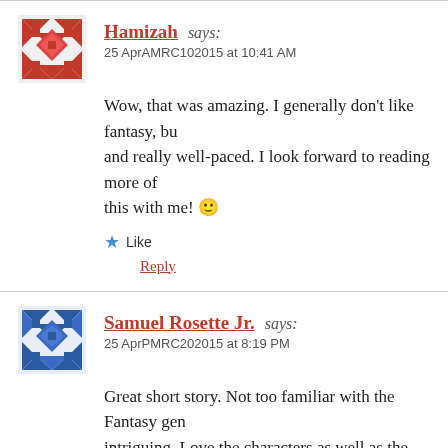Hamizah says: 25 AprAMRC102015 at 10:41 AM
Wow, that was amazing. I generally don't like fantasy, bu... and really well-paced. I look forward to reading more of ... this with me! 🙂
Like
Reply
Samuel Rosette Jr. says: 25 AprPMRC202015 at 8:19 PM
Great short story. Not too familiar with the Fantasy gen... intriguing. Love the characters as well as the lingo they u...
Like